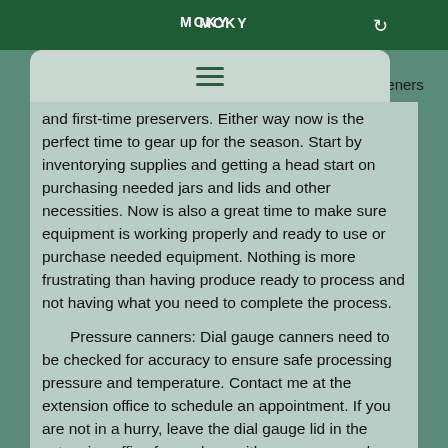MCKY
and first-time preservers.  Either way now is the perfect time to gear up for the season. Start by inventorying supplies and getting a head start on purchasing needed jars and lids and other necessities. Now is also a great time to make sure equipment is working properly and ready to use or purchase needed equipment.   Nothing is more frustrating than having produce ready to process and not having what you need to complete the process.
Pressure canners: Dial gauge canners need to be checked for accuracy to ensure safe processing pressure and temperature.  Contact me at the extension office to schedule an appointment.  If you are not in a hurry, leave the dial gauge lid in the extension office foyer along with your name and phone number.  I will test the lid for accuracy, and you can pick up later. This is a free service offered through your extension office. We also have free canning booklets which contain recipes, processing methods and other